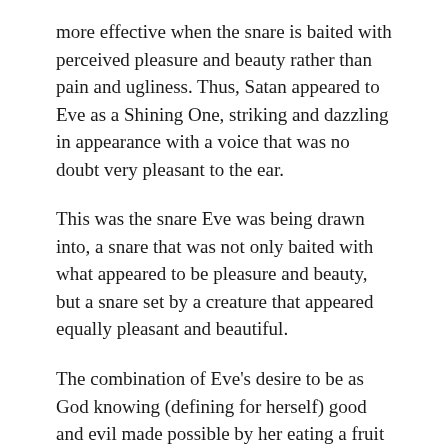more effective when the snare is baited with perceived pleasure and beauty rather than pain and ugliness. Thus, Satan appeared to Eve as a Shining One, striking and dazzling in appearance with a voice that was no doubt very pleasant to the ear.
This was the snare Eve was being drawn into, a snare that was not only baited with what appeared to be pleasure and beauty, but a snare set by a creature that appeared equally pleasant and beautiful.
The combination of Eve's desire to be as God knowing (defining for herself) good and evil made possible by her eating a fruit that was very appealing to her entire being to achieve that knowledge and presented by a creature of other-worldly beauty, sealed the deal.
The lie was made palatable because the fruit in which the lie was packaged to look like “health” food for the body,